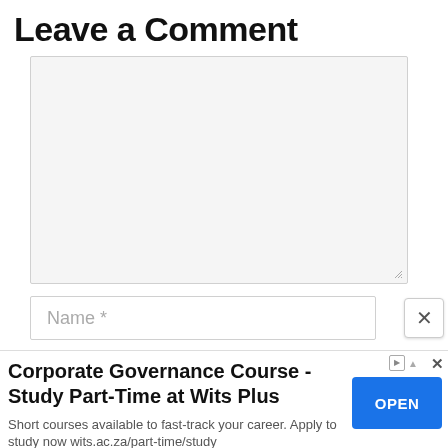Leave a Comment
[Figure (screenshot): Large empty textarea input box with light gray background, resize handle at bottom-right corner]
[Figure (screenshot): Name text input field with placeholder text 'Name *']
[Figure (screenshot): Close button (X) overlapping the name field area]
[Figure (screenshot): Advertisement banner: 'Corporate Governance Course - Study Part-Time at Wits Plus' with OPEN button and body text 'Short courses available to fast-track your career. Apply to study now wits.ac.za/part-time/study']